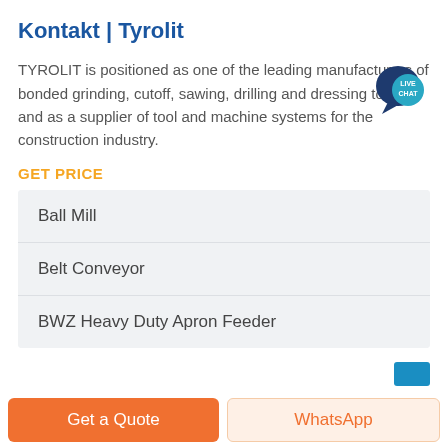Kontakt | Tyrolit
TYROLIT is positioned as one of the leading manufacturers of bonded grinding, cutoff, sawing, drilling and dressing tools and as a supplier of tool and machine systems for the construction industry.
GET PRICE
Ball Mill
Belt Conveyor
BWZ Heavy Duty Apron Feeder